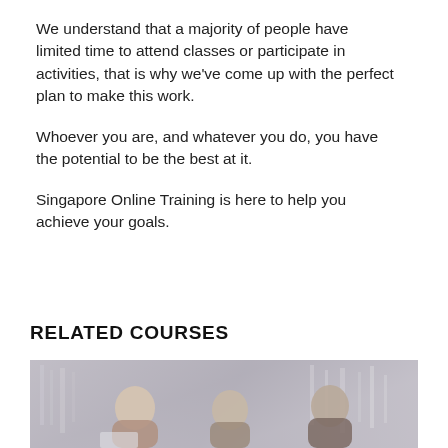We understand that a majority of people have limited time to attend classes or participate in activities, that is why we've come up with the perfect plan to make this work.
Whoever you are, and whatever you do, you have the potential to be the best at it.
Singapore Online Training is here to help you achieve your goals.
RELATED COURSES
[Figure (photo): Two or three people in a professional/office setting, appearing to be in a training or meeting environment with a blurred building background.]